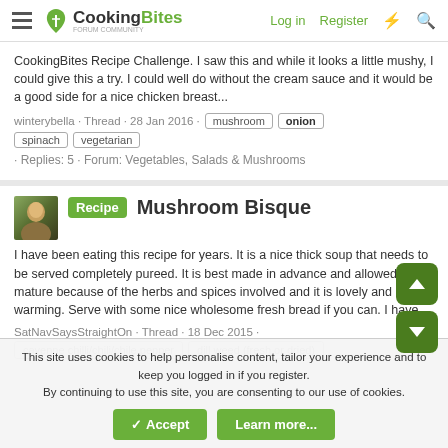CookingBites | Log in | Register
CookingBites Recipe Challenge. I saw this and while it looks a little mushy, I could give this a try. I could well do without the cream sauce and it would be a good side for a nice chicken breast...
winterybella · Thread · 28 Jan 2016 · mushroom onion spinach vegetarian · Replies: 5 · Forum: Vegetables, Salads & Mushrooms
[Figure (photo): User avatar photo showing a person outdoors]
Recipe Mushroom Bisque
I have been eating this recipe for years. It is a nice thick soup that needs to be served completely pureed. It is best made in advance and allowed to mature because of the herbs and spices involved and it is lovely and warming. Serve with some nice wholesome fresh bread if you can. I have...
SatNavSaysStraightOn · Thread · 18 Dec 2015 · cayenne chilli/chili/chile pepper   dill weed (fresh or dried)
This site uses cookies to help personalise content, tailor your experience and to keep you logged in if you register.
By continuing to use this site, you are consenting to our use of cookies.